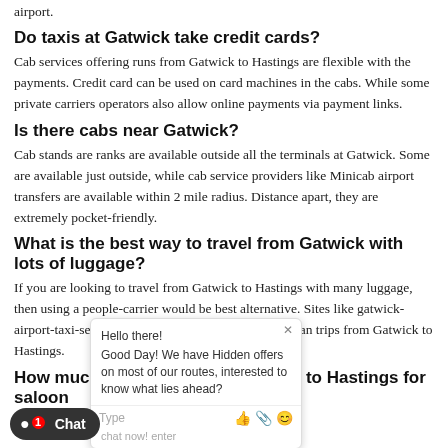airport.
Do taxis at Gatwick take credit cards?
Cab services offering runs from Gatwick to Hastings are flexible with the payments. Credit card can be used on card machines in the cabs. While some private carriers operators also allow online payments via payment links.
Is there cabs near Gatwick?
Cab stands are ranks are available outside all the terminals at Gatwick. Some are available just outside, while cab service providers like Minicab airport transfers are available within 2 mile radius. Distance apart, they are extremely pocket-friendly.
What is the best way to travel from Gatwick with lots of luggage?
If you are looking to travel from Gatwick to Hastings with many luggage, then using a people-carrier would be best alternative. Sites like gatwick-airport-taxi-service.co.uk offer great prices for minivan trips from Gatwick to Hastings.
How much is taxi fare from Gatwick to Hastings for saloon